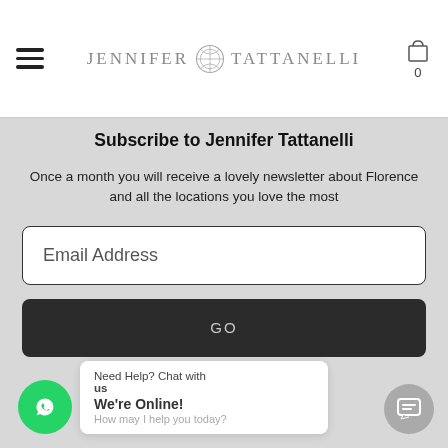JENNIFER TATTANELLI
Subscribe to Jennifer Tattanelli
Once a month you will receive a lovely newsletter about Florence and all the locations you love the most
Email Address
GO
Need Help? Chat with us
We're Online! How may I help you today?